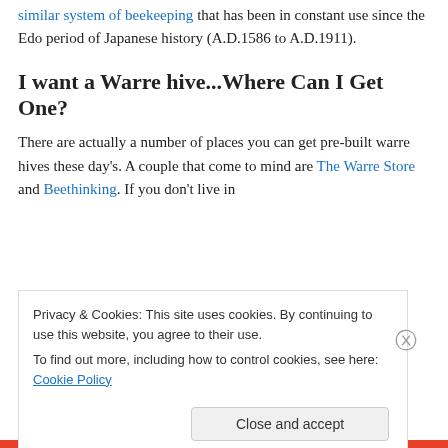similar system of beekeeping that has been in constant use since the Edo period of Japanese history (A.D.1586 to A.D.1911).
I want a Warre hive...Where Can I Get One?
There are actually a number of places you can get pre-built warre hives these day's. A couple that come to mind are The Warre Store and Beethinking. If you don't live in
Privacy & Cookies: This site uses cookies. By continuing to use this website, you agree to their use.
To find out more, including how to control cookies, see here: Cookie Policy